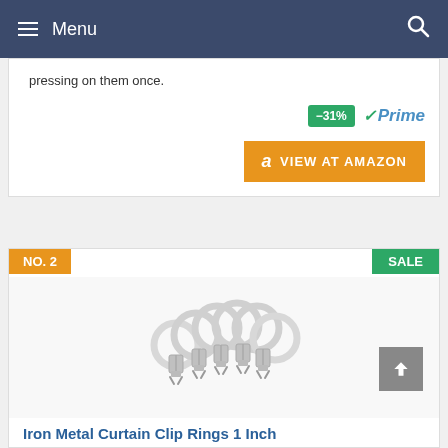Menu
pressing on them once.
[Figure (screenshot): Amazon Prime badge with -31% discount label and VIEW AT AMAZON orange button]
NO. 2
SALE
[Figure (photo): Iron metal curtain clip rings arranged in a fan shape, white/silver rings with metal clips]
Iron Metal Curtain Clip Rings 1 Inch